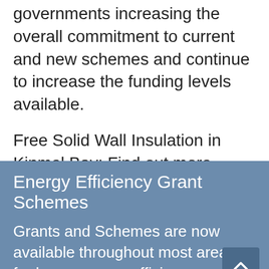governments increasing the overall commitment to current and new schemes and continue to increase the funding levels available.
Free Solid Wall Insulation in Kinmel Bay; Find out more about what's available in the area, availability may be limited, apply now.
Energy Efficiency Grant Schemes
Grants and Schemes are now available throughout most areas for home energy efficiency improvements.
Improvements available include boilers, heat pumps, heating systems, cavity wall insulation, solid wall